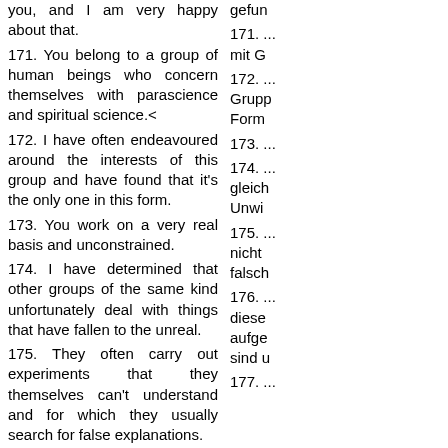you, and I am very happy about that.
171. You belong to a group of human beings who concern themselves with parascience and spiritual science.<
172. I have often endeavoured around the interests of this group and have found that it's the only one in this form.
173. You work on a very real basis and unconstrained.
174. I have determined that other groups of the same kind unfortunately deal with things that have fallen to the unreal.
175. They often carry out experiments that they themselves can't understand and for which they usually search for false explanations.
176. But this is not all that surprising, because in these groups practically only human beings are admitted who have fallen prey to a deluded belief and the irrational teachings of the religions.
177. I congratulate your group which is so
gefun...
171. ... mit G...
172. ... Grupp... Form...
173. ...
174. ... gleich... Unwi...
175. ... nicht ... falsch...
176. ... diese... aufge... sind u...
177. ...